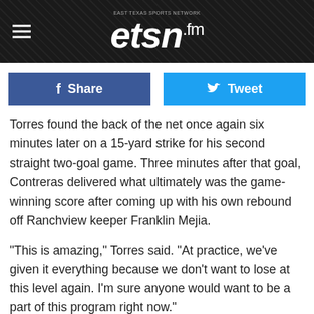etsn.fm
Share
Tweet
Torres found the back of the net once again six minutes later on a 15-yard strike for his second straight two-goal game. Three minutes after that goal, Contreras delivered what ultimately was the game-winning score after coming up with his own rebound off Ranchview keeper Franklin Mejia.
"This is amazing," Torres said. "At practice, we've given it everything because we don't want to lose at this level again. I'm sure anyone would want to be a part of this program right now."
Kilgore showed progress in its most recent state semifinal game, a 0-0 draw with eventual state champion Palestine